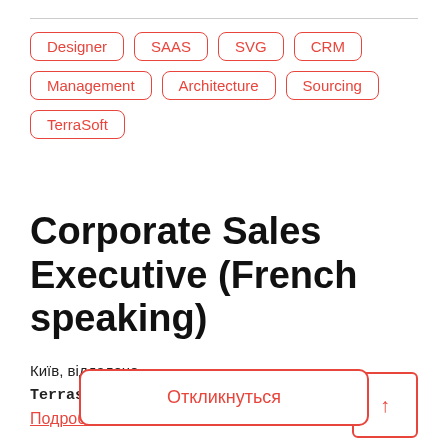Designer
SAAS
SVG
CRM
Management
Architecture
Sourcing
TerraSoft
Corporate Sales Executive (French speaking)
Київ, віддалено
Terrasoft Ukraine is a global vendor of one platform
Подробнее
Откликнуться